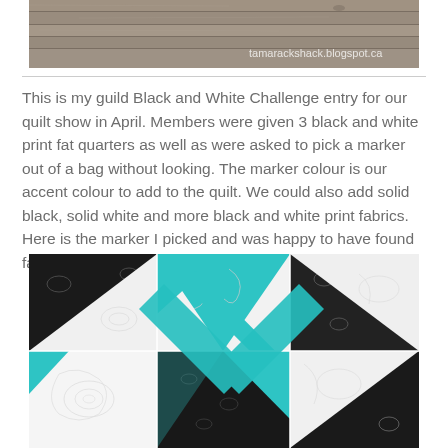[Figure (photo): Photo of wooden boards/planks with 'tamarackshack.blogspot.ca' watermark in bottom right corner.]
This is my guild Black and White Challenge entry for our quilt show in April.  Members were given 3 black and white print fat quarters as well as were asked to pick a marker out of a bag without looking.  The marker colour is our accent colour to add to the quilt.  We could also add solid black, solid white and more black and white print fabrics.   Here is the marker I picked and was happy to have found fabric that matched really well.
[Figure (photo): Close-up photo of a quilted piece featuring a pinwheel/star pattern made with black and white print fabrics and turquoise/teal accent fabric, with intricate quilting stitches visible.]